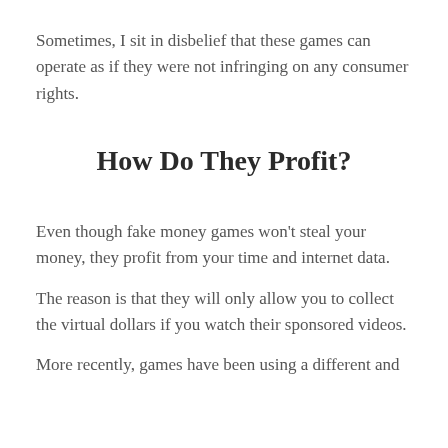Sometimes, I sit in disbelief that these games can operate as if they were not infringing on any consumer rights.
How Do They Profit?
Even though fake money games won't steal your money, they profit from your time and internet data.
The reason is that they will only allow you to collect the virtual dollars if you watch their sponsored videos.
More recently, games have been using a different and